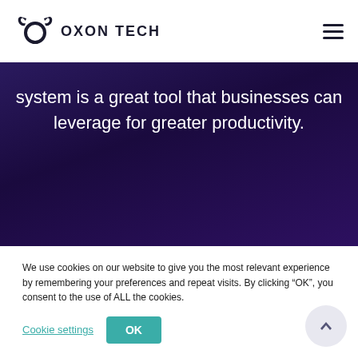OXON TECH
system is a great tool that businesses can leverage for greater productivity.
We use cookies on our website to give you the most relevant experience by remembering your preferences and repeat visits. By clicking “OK”, you consent to the use of ALL the cookies.
Cookie settings | OK